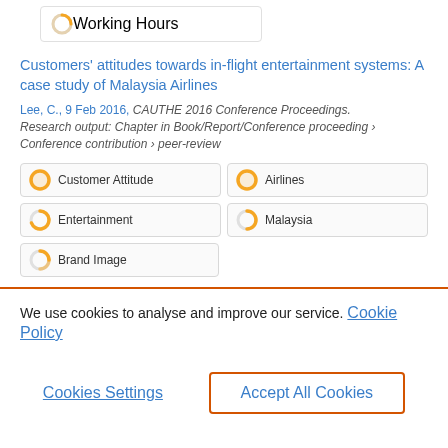Working Hours
Customers' attitudes towards in-flight entertainment systems: A case study of Malaysia Airlines
Lee, C., 9 Feb 2016, CAUTHE 2016 Conference Proceedings. Research output: Chapter in Book/Report/Conference proceeding › Conference contribution › peer-review
Customer Attitude
Airlines
Entertainment
Malaysia
Brand Image
We use cookies to analyse and improve our service. Cookie Policy
Cookies Settings
Accept All Cookies